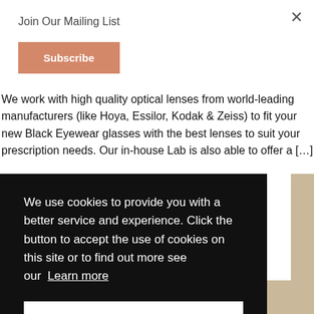Join Our Mailing List
Subscribe
We work with high quality optical lenses from world-leading manufacturers (like Hoya, Essilor, Kodak & Zeiss) to fit your new Black Eyewear glasses with the best lenses to suit your prescription needs. Our in-house Lab is also able to offer a [...]
We use cookies to provide you with a better service and experience. Click the button to accept the use of cookies on this site or to find out more see our Learn more
Got it!